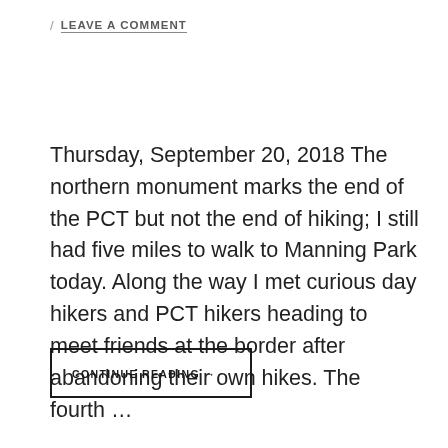/ LEAVE A COMMENT
Thursday, September 20, 2018 The northern monument marks the end of the PCT but not the end of hiking; I still had five miles to walk to Manning Park today. Along the way I met curious day hikers and PCT hikers heading to meet friends at the border after abandoning their own hikes. The fourth …
CONTINUE READING →